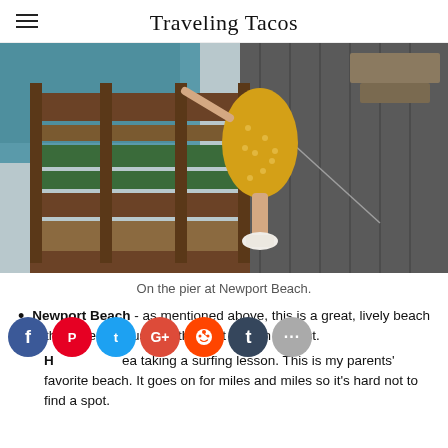Traveling Tacos
[Figure (photo): Person wearing a yellow polka-dot dress and white slip-on shoes standing on a wooden pier at Newport Beach, with teal ocean water visible in the background.]
On the pier at Newport Beach.
Newport Beach - as mentioned above, this is a great, lively beach with a nice pier, just like the next one on this list.
Huntington Beach - taking a surfing lesson. This is my parents' favorite beach. It goes on for miles and miles so it's hard not to find a spot.